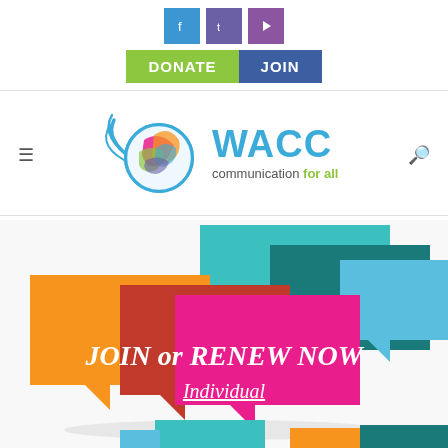[Figure (logo): Social media icons: Facebook (blue), Twitter (purple), YouTube (purple) squares; DONATE (green) and JOIN (blue) buttons]
[Figure (logo): WACC logo — globe with colorful swirls and text 'WACC communication for all']
[Figure (illustration): Colorful speech bubble illustration with text 'JOIN or RENEW NOW Individual' and partial second set of speech bubbles at bottom]